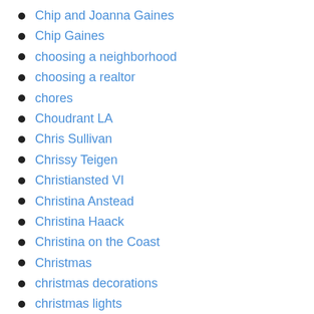Chip and Joanna Gaines
Chip Gaines
choosing a neighborhood
choosing a realtor
chores
Choudrant LA
Chris Sullivan
Chrissy Teigen
Christiansted VI
Christina Anstead
Christina Haack
Christina on the Coast
Christmas
christmas decorations
christmas lights
christmas tree
christmas tree safety
church
Cincinnati Bengals